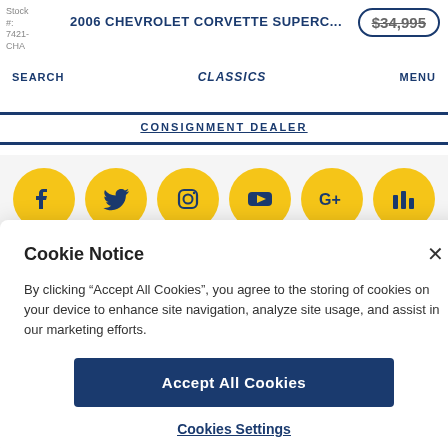Stock #: 7421-CHA | 2006 CHEVROLET CORVETTE SUPERC... | $34,995
SEARCH | CLASSICS | MENU
CONSIGNMENT DEALER
[Figure (illustration): Six yellow circular social media icons: Facebook, Twitter, Instagram, YouTube, Google+, and a bar-chart analytics icon]
Cookie Notice
By clicking “Accept All Cookies”, you agree to the storing of cookies on your device to enhance site navigation, analyze site usage, and assist in our marketing efforts.
Accept All Cookies
Cookies Settings
CALL | MESSAGE